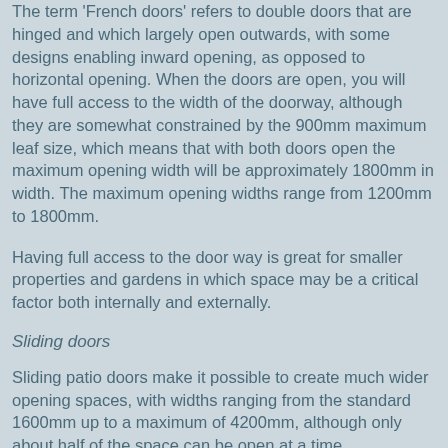The term 'French doors' refers to double doors that are hinged and which largely open outwards, with some designs enabling inward opening, as opposed to horizontal opening. When the doors are open, you will have full access to the width of the doorway, although they are somewhat constrained by the 900mm maximum leaf size, which means that with both doors open the maximum opening width will be approximately 1800mm in width. The maximum opening widths range from 1200mm to 1800mm.
Having full access to the door way is great for smaller properties and gardens in which space may be a critical factor both internally and externally.
Sliding doors
Sliding patio doors make it possible to create much wider opening spaces, with widths ranging from the standard 1600mm up to a maximum of 4200mm, although only about half of the space can be open at a time.